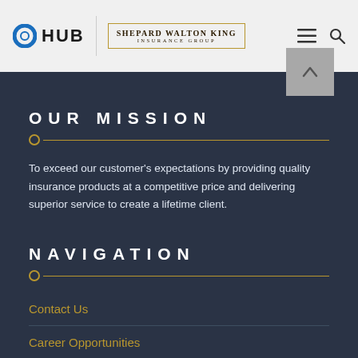[Figure (logo): HUB International logo with blue ring and bold HUB text, alongside Shepard Walton King Insurance Group logo in gold border]
OUR MISSION
To exceed our customer's expectations by providing quality insurance products at a competitive price and delivering superior service to create a lifetime client.
NAVIGATION
Contact Us
Career Opportunities